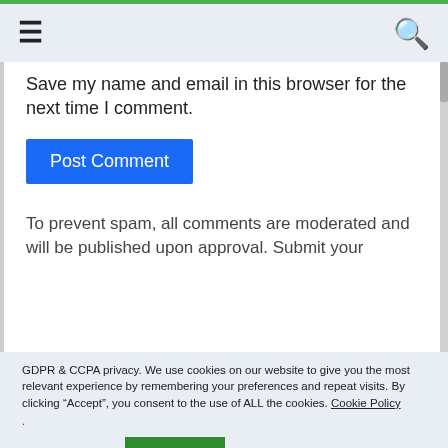≡  🔍
Save my name and email in this browser for the next time I comment.
Post Comment
To prevent spam, all comments are moderated and will be published upon approval. Submit your
GDPR & CCPA privacy. We use cookies on our website to give you the most relevant experience by remembering your preferences and repeat visits. By clicking "Accept", you consent to the use of ALL the cookies. Cookie Policy
.
Cookie settings   ACCEPT